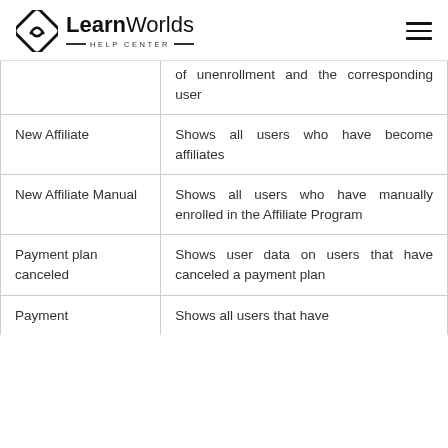LearnWorlds HELP CENTER
| Event | Description |
| --- | --- |
|  | of unenrollment and the corresponding user |
| New Affiliate | Shows all users who have become affiliates |
| New Affiliate Manual | Shows all users who have manually enrolled in the Affiliate Program |
| Payment plan canceled | Shows user data on users that have canceled a payment plan |
| Payment | Shows all users that have |